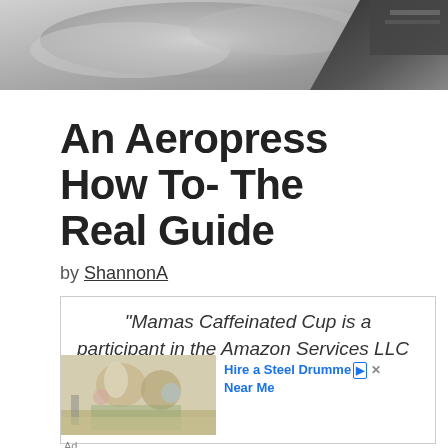[Figure (photo): Hero image showing smoke or steam in black and white, with a dark object in the top right corner.]
An Aeropress How To- The Real Guide
by ShannonA
“Mamas Caffeinated Cup is a participant in the Amazon Services LLC
[Figure (photo): Advertisement image showing people at an outdoor gathering, with text 'Hire a Steel Drummer Near Me' in blue.]